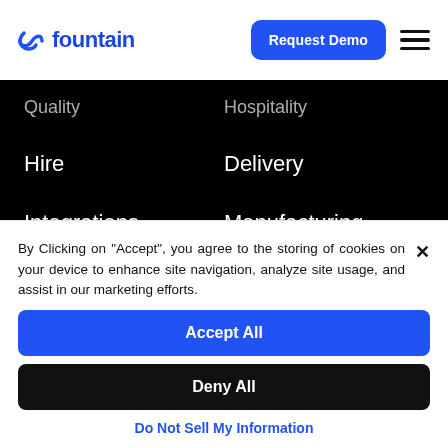fountain — Request Demo
Quality
Hospitality
Hire
Delivery
Integrations
Manufacturing
Food & Beverage
By Clicking on "Accept", you agree to the storing of cookies on your device to enhance site navigation, analyze site usage, and assist in our marketing efforts.
Accept All
Deny All
Do Not Sell My Information